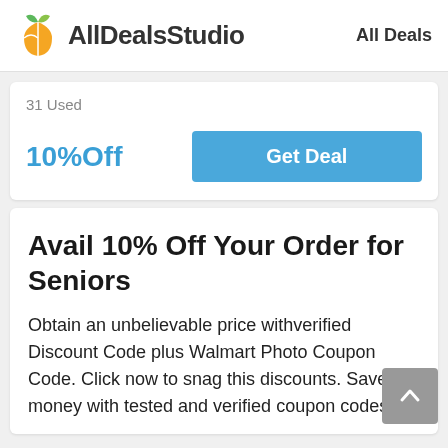AllDealsStudio   All Deals
31 Used
10%Off
Get Deal
Avail 10% Off Your Order for Seniors
Obtain an unbelievable price withverified Discount Code plus Walmart Photo Coupon Code. Click now to snag this discounts. Save money with tested and verified coupon codes